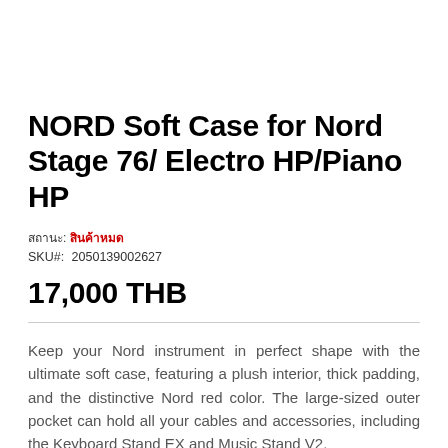NORD Soft Case for Nord Stage 76/ Electro HP/Piano HP
สถานะ: สินค้าหมด
SKU#:  2050139002627
17,000 THB
Keep your Nord instrument in perfect shape with the ultimate soft case, featuring a plush interior, thick padding, and the distinctive Nord red color. The large-sized outer pocket can hold all your cables and accessories, including the Keyboard Stand EX and Music Stand V2.